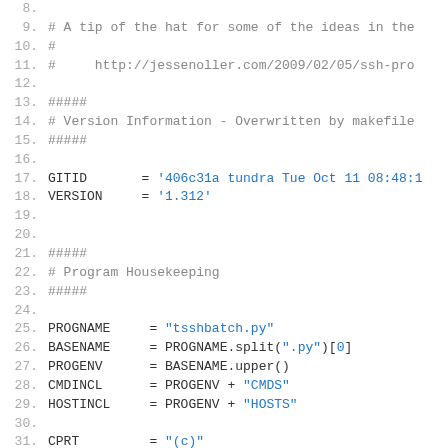[Figure (screenshot): Code editor screenshot showing Python/Makefile source code lines 8-33 with line numbers, comments, variable assignments, and string literals in a monospace font on white background.]